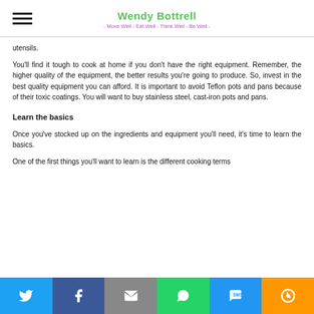Wendy Bottrell
- Move Well - Eat Well - Think Well - Be Well -
utensils.
You'll find it tough to cook at home if you don't have the right equipment. Remember, the higher quality of the equipment, the better results you're going to produce. So, invest in the best quality equipment you can afford. It is important to avoid Teflon pots and pans because of their toxic coatings. You will want to buy stainless steel, cast-iron pots and pans.
Learn the basics
Once you've stocked up on the ingredients and equipment you'll need, it's time to learn the basics.
One of the first things you'll want to learn is the different cooking terms